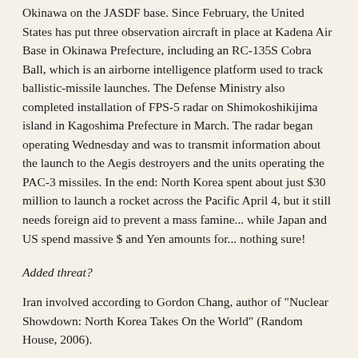Okinawa on the JASDF base. Since February, the United States has put three observation aircraft in place at Kadena Air Base in Okinawa Prefecture, including an RC-135S Cobra Ball, which is an airborne intelligence platform used to track ballistic-missile launches. The Defense Ministry also completed installation of FPS-5 radar on Shimokoshikijima island in Kagoshima Prefecture in March. The radar began operating Wednesday and was to transmit information about the launch to the Aegis destroyers and the units operating the PAC-3 missiles. In the end: North Korea spent about just $30 million to launch a rocket across the Pacific April 4, but it still needs foreign aid to prevent a mass famine... while Japan and US spend massive $ and Yen amounts for... nothing sure!
Added threat?
Iran involved according to Gordon Chang, author of "Nuclear Showdown: North Korea Takes On the World" (Random House, 2006).